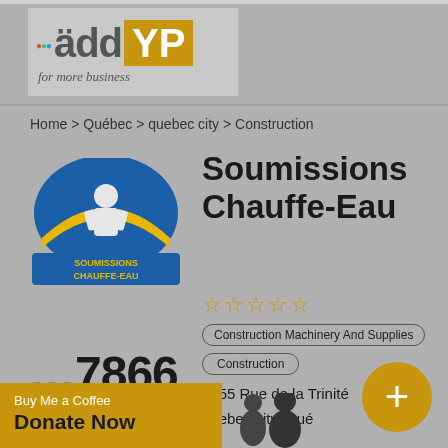[Figure (logo): addYP logo with colored dots and golden YP box, tagline 'for more business']
Home > Québec > quebec city > Construction
[Figure (logo): Soumissions Chauffe-Eau company logo with blue and yellow design showing a person figure]
Soumissions Chauffe-Eau
★★★★★ (empty stars rating)
Construction Machinery And Supplies
Construction
2055 Rue de la Trinité
quebec city, Qué
7866
Buy Me a Coffee
Donate Now